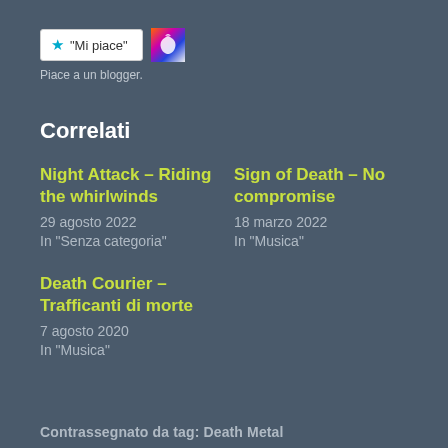[Figure (infographic): Facebook-style 'Mi piace' (Like) button with star icon, followed by avatar thumbnail with colorful bird/rainbow graphic]
Piace a un blogger.
Correlati
Night Attack – Riding the whirlwinds
29 agosto 2022
In "Senza categoria"
Sign of Death – No compromise
18 marzo 2022
In "Musica"
Death Courier – Trafficanti di morte
7 agosto 2020
In "Musica"
Contrassegnato da tag: Death Metal